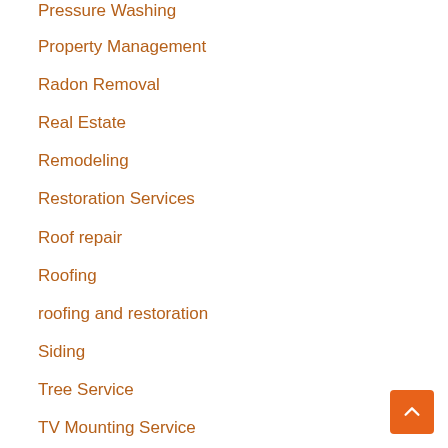Pressure Washing
Property Management
Radon Removal
Real Estate
Remodeling
Restoration Services
Roof repair
Roofing
roofing and restoration
Siding
Tree Service
TV Mounting Service
TV Wall Mount Installation
Uncategorized